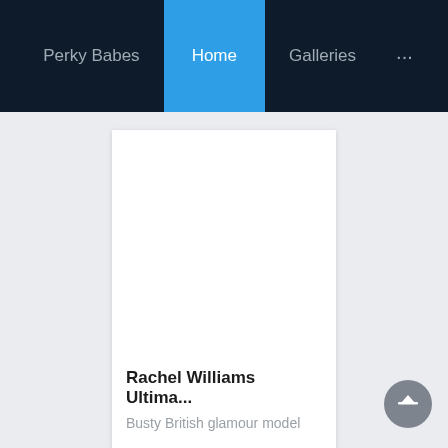Perky Babes  Home  Galleries  ...
[Figure (screenshot): White card placeholder image area (blank white rectangle)]
Rachel Williams Ultima...
Busty British glamour model